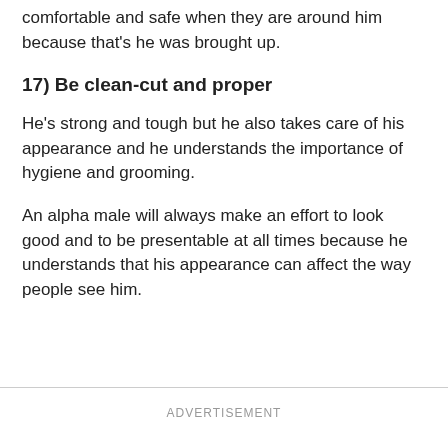He's caring and thoughtful and wants women to feel comfortable and safe when they are around him because that's he was brought up.
17) Be clean-cut and proper
He's strong and tough but he also takes care of his appearance and he understands the importance of hygiene and grooming.
An alpha male will always make an effort to look good and to be presentable at all times because he understands that his appearance can affect the way people see him.
ADVERTISEMENT